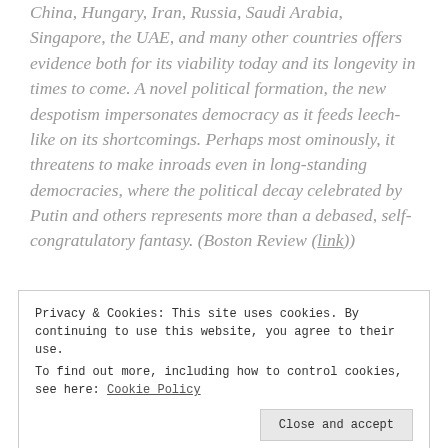China, Hungary, Iran, Russia, Saudi Arabia, Singapore, the UAE, and many other countries offers evidence both for its viability today and its longevity in times to come. A novel political formation, the new despotism impersonates democracy as it feeds leech-like on its shortcomings. Perhaps most ominously, it threatens to make inroads even in long-standing democracies, where the political decay celebrated by Putin and others represents more than a debased, self-congratulatory fantasy. (Boston Review (link))
Privacy & Cookies: This site uses cookies. By continuing to use this website, you agree to their use. To find out more, including how to control cookies, see here: Cookie Policy
Close and accept
groups? What concrete strategies are available, at a range of levels,